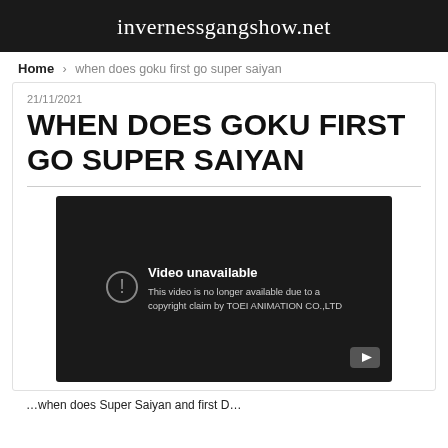invernessgangshow.net
Home › when does goku first go super saiyan
21/11/2021
WHEN DOES GOKU FIRST GO SUPER SAIYAN
[Figure (screenshot): YouTube video player showing 'Video unavailable - This video is no longer available due to a copyright claim by TOEI ANIMATION CO.,LTD']
...when does Super Saiyan and first D...